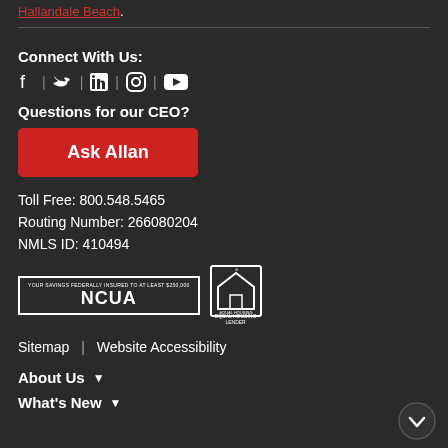Hallandale Beach
Connect With Us:
[Figure (illustration): Social media icons: Facebook, Twitter, LinkedIn, Instagram, YouTube separated by vertical bars]
Questions for our CEO?
[Figure (illustration): Red button labeled Ask Allan]
Toll Free: 800.548.5465
Routing Number: 266080204
NMLS ID: 410494
[Figure (logo): NCUA logo and Equal Housing Lender logo]
Sitemap  |  Website Accessibility
About Us
What's New